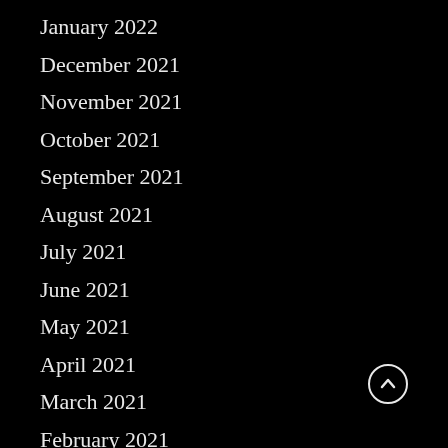January 2022
December 2021
November 2021
October 2021
September 2021
August 2021
July 2021
June 2021
May 2021
April 2021
March 2021
February 2021
January 2021
December 2020
November 2020
October 2020